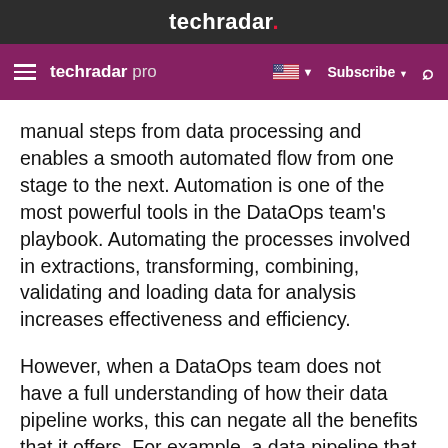techradar.
techradar pro  Subscribe
manual steps from data processing and enables a smooth automated flow from one stage to the next. Automation is one of the most powerful tools in the DataOps team’s playbook. Automating the processes involved in extractions, transforming, combining, validating and loading data for analysis increases effectiveness and efficiency.
However, when a DataOps team does not have a full understanding of how their data pipeline works, this can negate all the benefits that it offers. For example, a data pipeline that needs to be completed by 4am every morning is consistently being delayed and